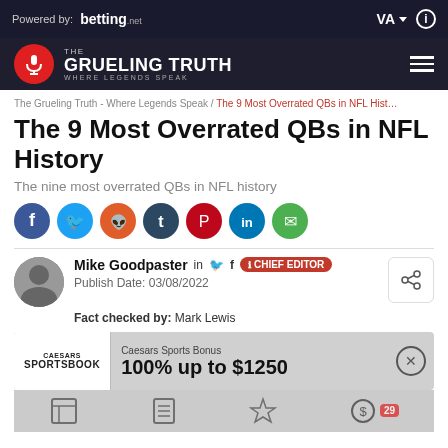Powered by: betting.net | VA | (i)
THE GRUELING TRUTH — WHERE LEGENDS SPEAK
The Grueling Truth - Where Legends Speak / The 9 Most Overrated QBs in NFL Hist…
The 9 Most Overrated QBs in NFL History
The nine most overrated QBs in NFL history
[Figure (infographic): Social sharing icons: Facebook, Twitter, Reddit, Tumblr, Pinterest, LinkedIn, Email]
Mike Goodpaster  in  🐦  f  CHIEF EDITOR
Publish Date: 03/08/2022
Fact checked by: Mark Lewis
[Figure (infographic): Caesars Sportsbook ad: Caesars Sports Bonus 100% up to $1250, with close button and bottom strip with icons and badge 29]